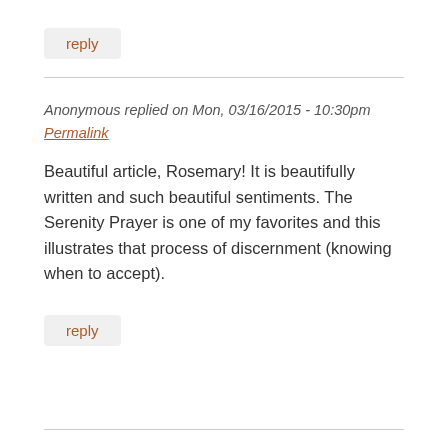reply
Anonymous replied on Mon, 03/16/2015 - 10:30pm
Permalink
Beautiful article, Rosemary! It is beautifully written and such beautiful sentiments. The Serenity Prayer is one of my favorites and this illustrates that process of discernment (knowing when to accept).
reply